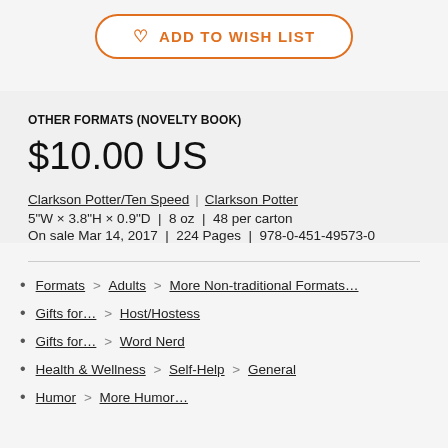[Figure (other): ADD TO WISH LIST button with heart icon, orange border, orange text]
OTHER FORMATS (NOVELTY BOOK)
$10.00 US
Clarkson Potter/Ten Speed | Clarkson Potter
5"W × 3.8"H × 0.9"D  |  8 oz  |  48 per carton
On sale Mar 14, 2017  |  224 Pages  |  978-0-451-49573-0
Formats > Adults > More Non-traditional Formats…
Gifts for… > Host/Hostess
Gifts for… > Word Nerd
Health & Wellness > Self-Help > General
Humor > More Humor…